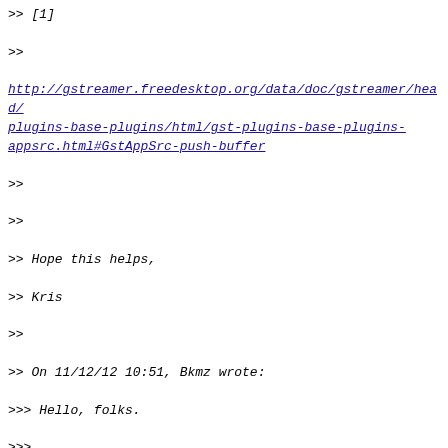>> [1]
>>
http://gstreamer.freedesktop.org/data/doc/gstreamer/head/plugins-base-plugins/html/gst-plugins-base-plugins-appsrc.html#GstAppSrc-push-buffer
>>
>>
>> Hope this helps,
>> Kris
>>
>> On 11/12/12 10:51, Bkmz wrote:
>>> Hello, folks.
>>>
>>> I have a python program that does live streaming via rtmpsinc
>>>
>>>
>>> The code:
>>>
>>> import pygst
>>> pygst.require("0.10")
>>>
>>> import gobject
>>> gobject.threads_init()
>>>
>>> import gst
>>> import time
>>>
>>> class Publisher:
>>>